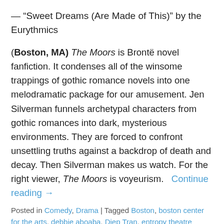— “Sweet Dreams (Are Made of This)” by the Eurythmics
(Boston, MA) The Moors is Brontë novel fanfiction. It condenses all of the winsome trappings of gothic romance novels into one melodramatic package for our amusement. Jen Silverman funnels archetypal characters from gothic romances into dark, mysterious environments. They are forced to confront unsettling truths against a backdrop of death and decay. Then Silverman makes us watch. For the right viewer, The Moors is voyeurism.   Continue reading →
Posted in Comedy, Drama | Tagged Boston, boston center for the arts, debbie aboaba, Diep Tran, entropy theatre company, gothic romance, Jane Eyre, jen silverman, jo michael rezes, Joe Juknievich, kaleigh kane, kris kim, luke lewkowicz, Plaza Black Box Theatre, Robin Abrahams, ryan lemay, Sydney Grant, the